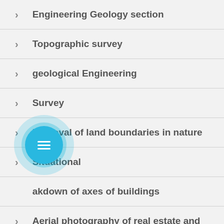Engineering Geology section
Topographic survey
geological Engineering
Survey
Removal of land boundaries in nature
Situational
akdown of axes of buildings
Aerial photography of real estate and
[Figure (illustration): Circular FAB (floating action button) with teal/cyan background and a list/document icon in white, surrounded by two concentric translucent rings]